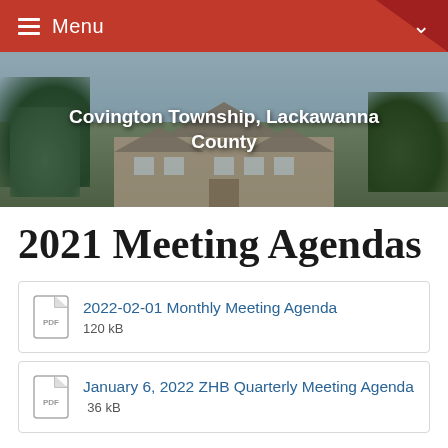Menu
[Figure (photo): Aerial photo of stone building at Covington Township, Lackawanna County with trees in background]
2021 Meeting Agendas
2022-02-01 Monthly Meeting Agenda 120 kB
January 6, 2022 ZHB Quarterly Meeting Agenda 36 kB